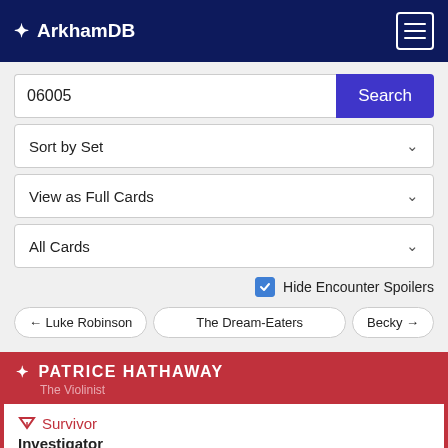✦ ArkhamDB
06005
Sort by Set
View as Full Cards
All Cards
Hide Encounter Spoilers
← Luke Robinson
The Dream-Eaters
Becky →
✦ PATRICE HATHAWAY — The Violinist
▽ Survivor
Investigator
Performer. Cursed.
Willpower: 4. Intellect: 2. Combat: 2. Agility: 2.
Health: 7. Sanity: 7.